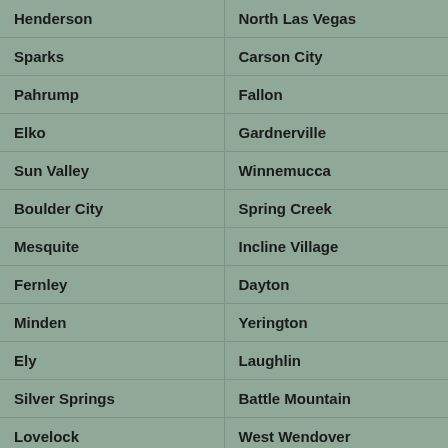| Henderson | North Las Vegas |
| Sparks | Carson City |
| Pahrump | Fallon |
| Elko | Gardnerville |
| Sun Valley | Winnemucca |
| Boulder City | Spring Creek |
| Mesquite | Incline Village |
| Fernley | Dayton |
| Minden | Yerington |
| Ely | Laughlin |
| Silver Springs | Battle Mountain |
| Lovelock | West Wendover |
| Overton | Washoe Valley |